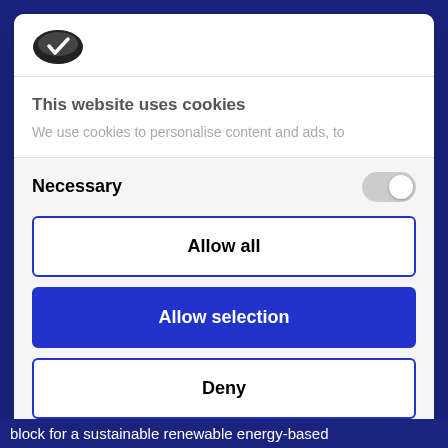[Figure (logo): Cookiebot logo — dark oval with white checkmark]
This website uses cookies
We use cookies to personalise content and ads, to
Necessary
Allow all
Allow selection
Deny
Powered by Cookiebot by Usercentrics
block for a sustainable renewable energy-based